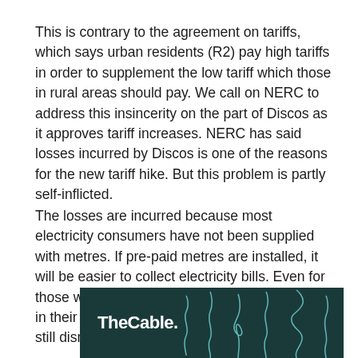This is contrary to the agreement on tariffs, which says urban residents (R2) pay high tariffs in order to supplement the low tariff which those in rural areas should pay. We call on NERC to address this insincerity on the part of Discos as it approves tariff increases. NERC has said losses incurred by Discos is one of the reasons for the new tariff hike. But this problem is partly self-inflicted.
The losses are incurred because most electricity consumers have not been supplied with metres. If pre-paid metres are installed, it will be easier to collect electricity bills. Even for those who have had electricity metres installed in their facilities, service delivery by Discos is still dismal.
[Figure (logo): TheCable logo on dark teal background with decorative wavy line illustrations]